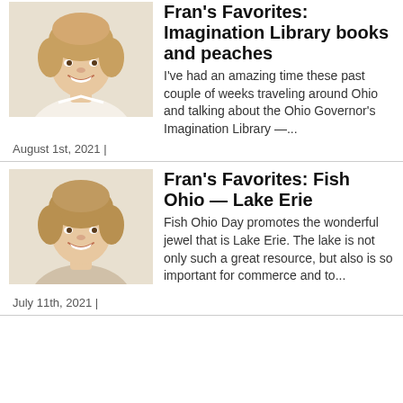Fran's Favorites: Imagination Library books and peaches
I've had an amazing time these past couple of weeks traveling around Ohio and talking about the Ohio Governor's Imagination Library —...
August 1st, 2021 |
Fran's Favorites: Fish Ohio — Lake Erie
Fish Ohio Day promotes the wonderful jewel that is Lake Erie. The lake is not only such a great resource, but also is so important for commerce and to...
July 11th, 2021 |
Fran's Favorites: Christening gowns and cherry crisp
[Figure (photo): Portrait photo of a woman with short blonde hair smiling]